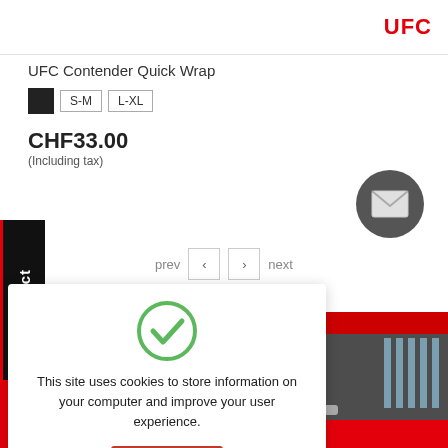[Figure (logo): UFC logo in red at top right of page]
UFC Contender Quick Wrap
■ S-M L-XL (size options)
CHF33.00
(Including tax)
[Figure (other): Dark circular mail/envelope button]
Contact (vertical sidebar label)
prev < > next (navigation)
This site uses cookies to store information on your computer and improve your user experience.
OK
[Figure (photo): Exterior photo of a building with red signage, labeled 'needhart', with cars parked in front]
GROSSEN TABELLEN